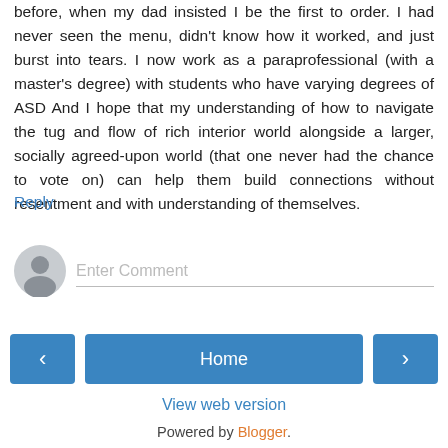before, when my dad insisted I be the first to order. I had never seen the menu, didn't know how it worked, and just burst into tears. I now work as a paraprofessional (with a master's degree) with students who have varying degrees of ASD And I hope that my understanding of how to navigate the tug and flow of rich interior world alongside a larger, socially agreed-upon world (that one never had the chance to vote on) can help them build connections without resentment and with understanding of themselves.
Reply
[Figure (other): Comment input area with user avatar icon and 'Enter Comment' placeholder text field]
Home
View web version
Powered by Blogger.